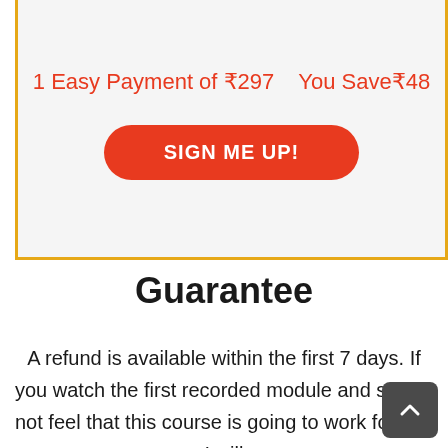1 Easy Payment of ₹297    You Save₹48
SIGN ME UP!
Guarantee
A refund is available within the first 7 days. If you watch the first recorded module and still do not feel that this course is going to work for you I will